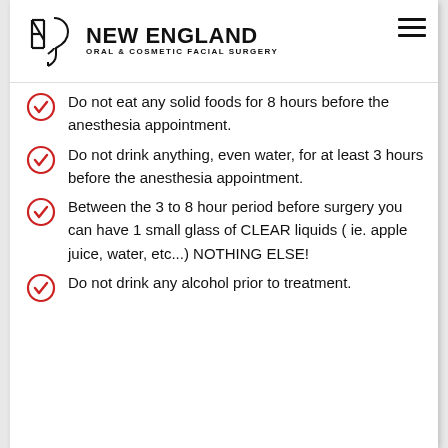NEW ENGLAND ORAL & COSMETIC FACIAL SURGERY
Do not eat any solid foods for 8 hours before the anesthesia appointment.
Do not drink anything, even water, for at least 3 hours before the anesthesia appointment.
Between the 3 to 8 hour period before surgery you can have 1 small glass of CLEAR liquids ( ie. apple juice, water, etc...) NOTHING ELSE!
Do not drink any alcohol prior to treatment.